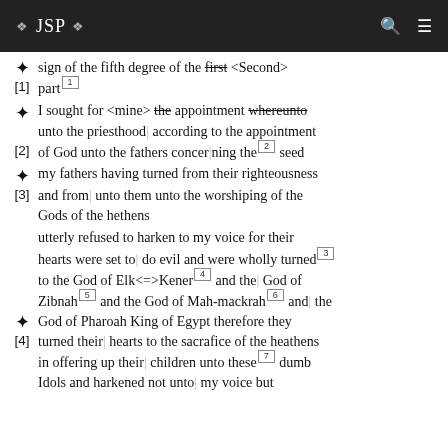❖ JSP ❖
✦  sign of the fifth degree of the first <Second>
[1]  part [footnote 1]
I sought for <mine> the appointment whereunto unto the priesthood | according to the appointment of God unto the fathers concerning the [footnote 2] seed
✦  [2]
my fathers having turned from their righteousness and from | unto them unto the worshiping of the Gods of the hethens
✦  [3]
utterly refused to harken to my voice for their hearts were set to | do evil and were wholly turned [footnote 3] to the God of Elk<=>Kener [footnote 4] and the | God of Zibnah [footnote 5] and the God of Mah-mackrah [footnote 6] and | the God of Pharoah King of Egypt therefore they
✦  [4]
turned their | hearts to the sacrafice of the heathens in offering up their | children unto these [footnote 7] dumb Idols and harkened not unto | my voice but